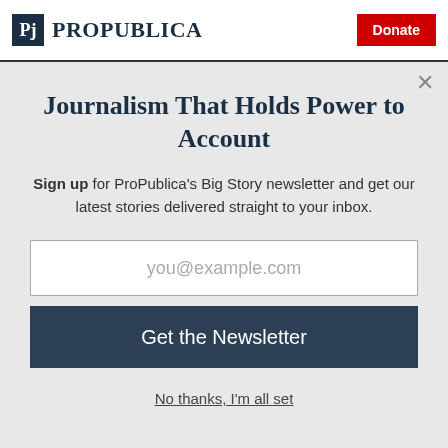ProPublica — Donate
back, known as posterior approach. We are publishing the medical codes for each
Journalism That Holds Power to Account
Sign up for ProPublica's Big Story newsletter and get our latest stories delivered straight to your inbox.
you@example.com
Get the Newsletter
No thanks, I'm all set
This site is protected by reCAPTCHA and the Google Privacy Policy and Terms of Service apply.